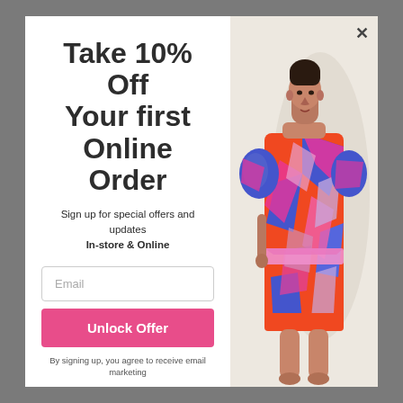Take 10% Off Your first Online Order
Sign up for special offers and updates In-store & Online
[Figure (photo): Fashion model wearing a colorful geometric-patterned orange, pink, blue and white mini dress with puff sleeves]
Email
Unlock Offer
By signing up, you agree to receive email marketing
No, thanks